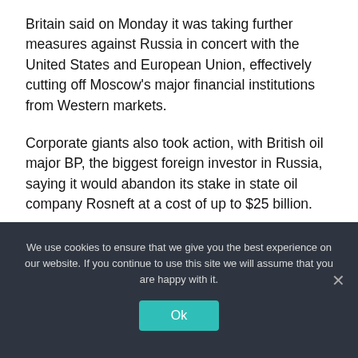Britain said on Monday it was taking further measures against Russia in concert with the United States and European Union, effectively cutting off Moscow's major financial institutions from Western markets.
Corporate giants also took action, with British oil major BP, the biggest foreign investor in Russia, saying it would abandon its stake in state oil company Rosneft at a cost of up to $25 billion.
We use cookies to ensure that we give you the best experience on our website. If you continue to use this site we will assume that you are happy with it.